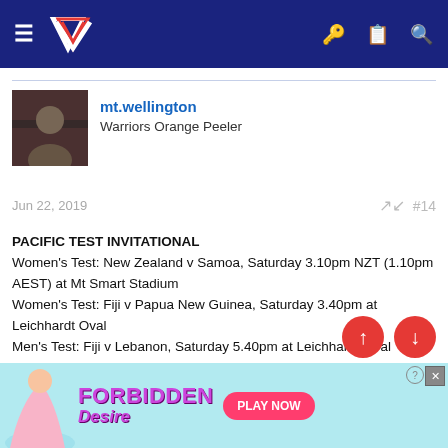NZ Warriors forum navigation bar
mt.wellington
Warriors Orange Peeler
Jun 22, 2019  #14
PACIFIC TEST INVITATIONAL
Women's Test: New Zealand v Samoa, Saturday 3.10pm NZT (1.10pm AEST) at Mt Smart Stadium
Women's Test: Fiji v Papua New Guinea, Saturday 3.40pm at Leichhardt Oval
Men's Test: Fiji v Lebanon, Saturday 5.40pm at Leichhardt Oval
Men's Test: Samoa v Papua New Guinea, Saturday 7.40pm Leichhardt Oval
[Figure (illustration): Ad banner for Forbidden Desire game with play now button]